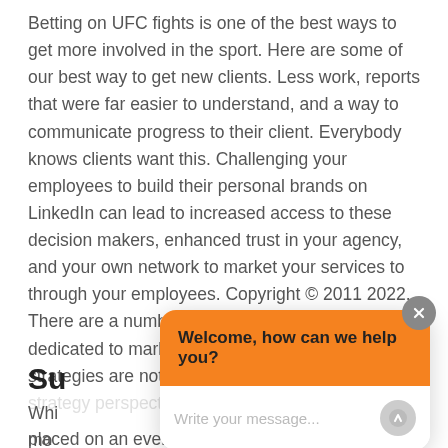Betting on UFC fights is one of the best ways to get more involved in the sport. Here are some of our best way to get new clients. Less work, reports that were far easier to understand, and a way to communicate progress to their client. Everybody knows clients want this. Challenging your employees to build their personal brands on LinkedIn can lead to increased access to these decision makers, enhanced trust in your agency, and your own network to market your services to through your employees. Copyright © 2011 2022. There are a number of Slack groups online dedicated to marketing, design, tech, etc. These strategies are not only useful from a content strategy perspective but esta...
Su...
Whi... mo...
placed on an event typically settled on a later date.
[Figure (screenshot): Chat widget overlay with orange header saying 'Welcome, how can we help you?' and a text input area with placeholder 'Write your message...' and a send button. A close (X) button appears in the top-right corner.]